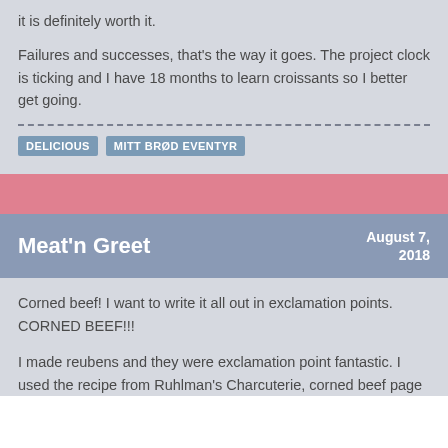it is definitely worth it.
Failures and successes, that's the way it goes. The project clock is ticking and I have 18 months to learn croissants so I better get going.
DELICIOUS
MITT BRØD EVENTYR
Meat'n Greet
August 7, 2018
Corned beef! I want to write it all out in exclamation points. CORNED BEEF!!!
I made reubens and they were exclamation point fantastic. I used the recipe from Ruhlman's Charcuterie, corned beef page